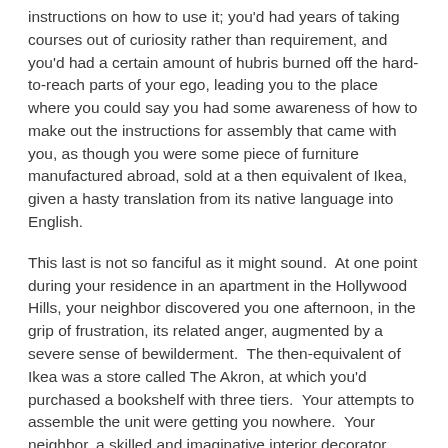instructions on how to use it; you'd had years of taking courses out of curiosity rather than requirement, and you'd had a certain amount of hubris burned off the hard-to-reach parts of your ego, leading you to the place where you could say you had some awareness of how to make out the instructions for assembly that came with you, as though you were some piece of furniture manufactured abroad, sold at a then equivalent of Ikea, given a hasty translation from its native language into English.
This last is not so fanciful as it might sound.  At one point during your residence in an apartment in the Hollywood Hills, your neighbor discovered you one afternoon, in the grip of frustration, its related anger, augmented by a severe sense of bewilderment.  The then-equivalent of Ikea was a store called The Akron, at which you'd purchased a bookshelf with three tiers.  Your attempts to assemble the unit were getting you nowhere.  Your neighbor, a skilled and imaginative interior decorator, took charge, discovering first of all, and to your great relief, that you'd been given the wrong instructions.  "This is not an instruction for a bookshelf.  This is in fact instructions for an outdoor picnic set."  He could